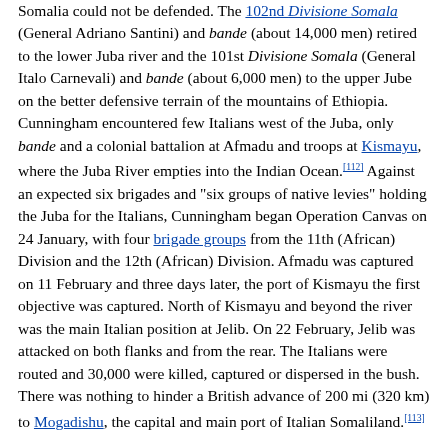Somalia could not be defended. The 102nd Divisione Somala (General Adriano Santini) and bande (about 14,000 men) retired to the lower Juba river and the 101st Divisione Somala (General Italo Carnevali) and bande (about 6,000 men) to the upper Jube on the better defensive terrain of the mountains of Ethiopia. Cunningham encountered few Italians west of the Juba, only bande and a colonial battalion at Afmadu and troops at Kismayu, where the Juba River empties into the Indian Ocean.[112] Against an expected six brigades and "six groups of native levies" holding the Juba for the Italians, Cunningham began Operation Canvas on 24 January, with four brigade groups from the 11th (African) Division and the 12th (African) Division. Afmadu was captured on 11 February and three days later, the port of Kismayu the first objective was captured. North of Kismayu and beyond the river was the main Italian position at Jelib. On 22 February, Jelib was attacked on both flanks and from the rear. The Italians were routed and 30,000 were killed, captured or dispersed in the bush. There was nothing to hinder a British advance of 200 mi (320 km) to Mogadishu, the capital and main port of Italian Somaliland.[113]
On 25 February 1941, the motorised 23rd Nigerian Brigade (11th (African) Division) advanced 235 mi (378 km) up the coast in three days and occupied the Somali capital of Mogadishu unopposed. The 12th (African) Division was ordered to advance on Bardera and Isha Baidoa but was held up because of the difficulty